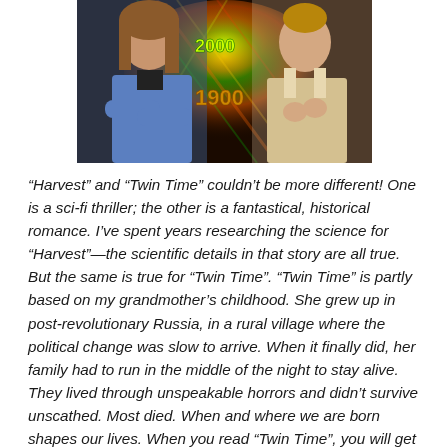[Figure (photo): Book cover image showing two girls — one in modern clothing on the left, one in historical clothing on the right — with colorful light streaks and the text '2000' and '1900' visible in the center, suggesting a time-travel theme.]
“Harvest” and “Twin Time” couldn’t be more different! One is a sci-fi thriller; the other is a fantastical, historical romance. I’ve spent years researching the science for “Harvest”—the scientific details in that story are all true. But the same is true for “Twin Time”. “Twin Time” is partly based on my grandmother’s childhood. She grew up in post-revolutionary Russia, in a rural village where the political change was slow to arrive. When it finally did, her family had to run in the middle of the night to stay alive. They lived through unspeakable horrors and didn’t survive unscathed. Most died. When and where we are born shapes our lives. When you read “Twin Time”, you will get